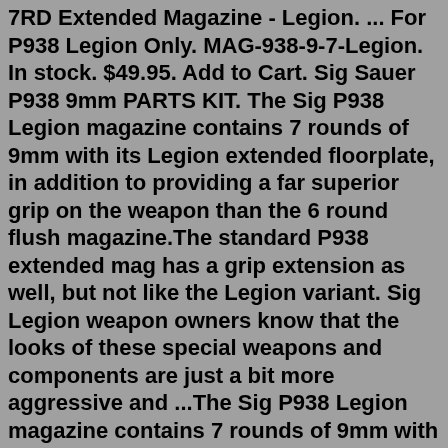7RD Extended Magazine - Legion. ... For P938 Legion Only. MAG-938-9-7-Legion. In stock. $49.95. Add to Cart. Sig Sauer P938 9mm PARTS KIT. The Sig P938 Legion magazine contains 7 rounds of 9mm with its Legion extended floorplate, in addition to providing a far superior grip on the weapon than the 6 round flush magazine.The standard P938 extended mag has a grip extension as well, but not like the Legion variant. Sig Legion weapon owners know that the looks of these special weapons and components are just a bit more aggressive and ...The Sig P938 Legion magazine contains 7 rounds of 9mm with its Legion extended floorplate, in addition to providing a far superior grip on the weapon than the 6 round flush magazine. The standard P938 extended mag has a grip extension as well, but not like the Legion variant. Sig Legion weapon owners know that the looks of these special weapons ... The LEGION P938 features the distinctive LEGION Gray finish in Cerakote® Elite. The P938 Legion includes a new precision machined aluminum trigger and aggressive trigger